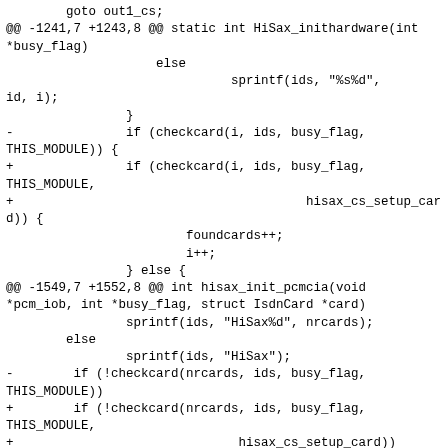goto out1_cs;
@@ -1241,7 +1243,8 @@ static int HiSax_inithardware(int *busy_flag)
                    else
                              sprintf(ids, "%s%d",
id, i);
                }
-               if (checkcard(i, ids, busy_flag,
THIS_MODULE)) {
+               if (checkcard(i, ids, busy_flag,
THIS_MODULE,
+                                       hisax_cs_setup_card)) {
                        foundcards++;
                        i++;
                } else {
@@ -1549,7 +1552,8 @@ int hisax_init_pcmcia(void *pcm_iob, int *busy_flag, struct IsdnCard *card)
                sprintf(ids, "HiSax%d", nrcards);
        else
                sprintf(ids, "HiSax");
-        if (!checkcard(nrcards, ids, busy_flag,
THIS_MODULE))
+        if (!checkcard(nrcards, ids, busy_flag,
THIS_MODULE,
+                              hisax_cs_setup_card))
                goto error;

        ret = nrcards;
@@ -1595,7 +1599,7 @@ int hisax_register(struct hisax_d_if *hisax_d_if, struct hisax_b_if *b_if[],